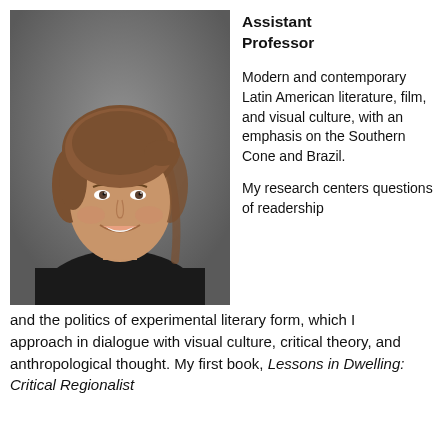[Figure (photo): Headshot photo of a woman smiling, wearing a black sleeveless top, with brown hair pulled back, against a gray background.]
Assistant Professor
Modern and contemporary Latin American literature, film, and visual culture, with an emphasis on the Southern Cone and Brazil.
My research centers questions of readership and the politics of experimental literary form, which I approach in dialogue with visual culture, critical theory, and anthropological thought. My first book, Lessons in Dwelling: Critical Regionalist